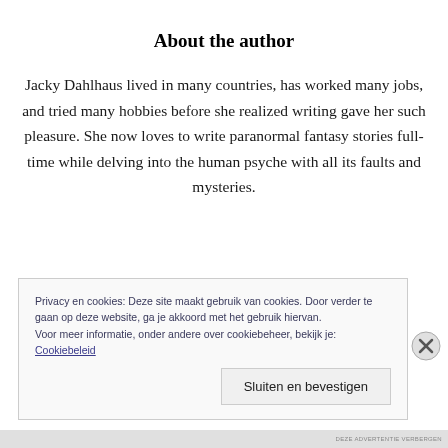About the author
Jacky Dahlhaus lived in many countries, has worked many jobs, and tried many hobbies before she realized writing gave her such pleasure. She now loves to write paranormal fantasy stories full-time while delving into the human psyche with all its faults and mysteries.
Privacy en cookies: Deze site maakt gebruik van cookies. Door verder te gaan op deze website, ga je akkoord met het gebruik hiervan. Voor meer informatie, onder andere over cookiebeheer, bekijk je: Cookiebeleid
Sluiten en bevestigen